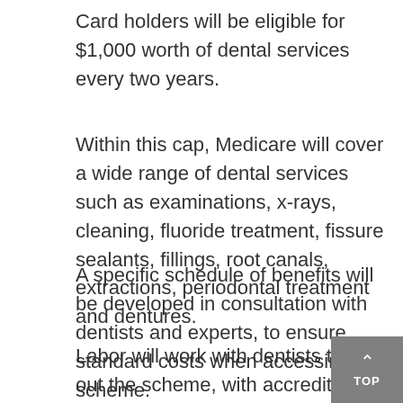Card holders will be eligible for $1,000 worth of dental services every two years.
Within this cap, Medicare will cover a wide range of dental services such as examinations, x-rays, cleaning, fluoride treatment, fissure sealants, fillings, root canals, extractions, periodontal treatment and dentures.
A specific schedule of benefits will be developed in consultation with dentists and experts, to ensure standard costs when accessing the scheme.
Labor will work with dentists to roll out the scheme, with accredited private dental practices able to join on the condition that they bulk bill, and meet minimum quality, safety and efficiency